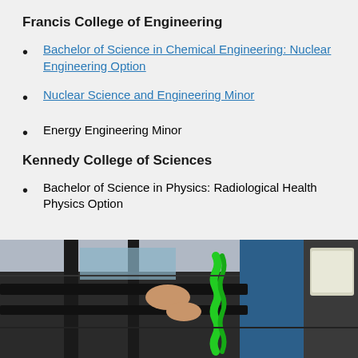Francis College of Engineering
Bachelor of Science in Chemical Engineering: Nuclear Engineering Option
Nuclear Science and Engineering Minor
Energy Engineering Minor
Kennedy College of Sciences
Bachelor of Science in Physics: Radiological Health Physics Option
[Figure (photo): Photo of a person working with mechanical/engineering equipment including black bars and green spiral cable wrap in what appears to be a lab or industrial setting]